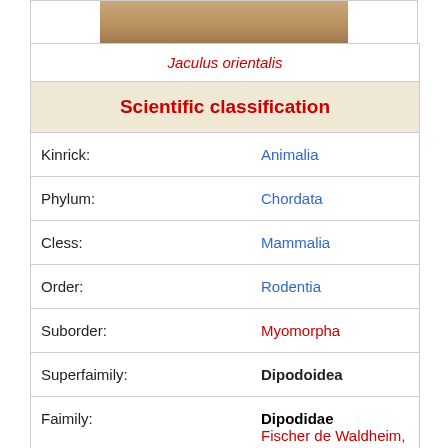[Figure (photo): Partial photo of Jaculus orientalis (jerboa)]
| Rank | Value |
| --- | --- |
| Jaculus orientalis |  |
| Scientific classification |  |
| Kinrick: | Animalia |
| Phylum: | Chordata |
| Cless: | Mammalia |
| Order: | Rodentia |
| Suborder: | Myomorpha |
| Superfaimily: | Dipodoidea |
| Faimily: | Dipodidae Fischer de Waldheim, 1817 |